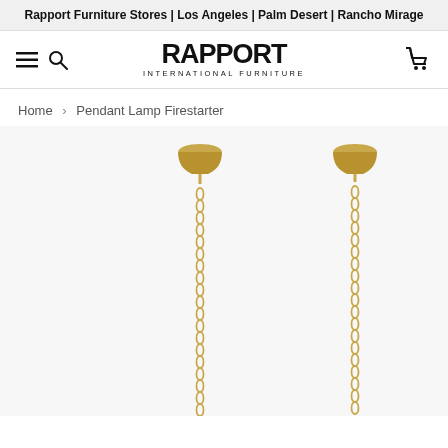Rapport Furniture Stores | Los Angeles | Palm Desert | Rancho Mirage
[Figure (logo): Rapport International Furniture logo with hamburger menu, search icon, and cart icon in navigation bar]
Home > Pendant Lamp Firestarter
[Figure (photo): Two pendant lamp Firestarter products showing gold/brass bell-shaped ceiling canopies with long decorative chain links hanging down against white background]